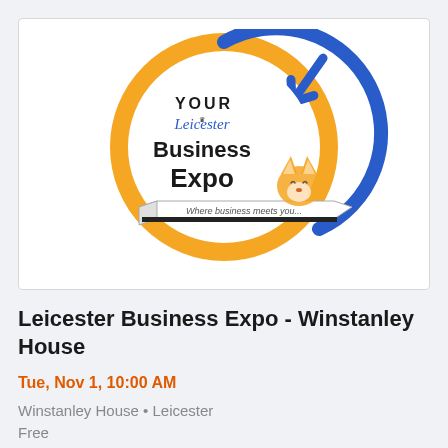[Figure (logo): Your Leicester Business Expo logo — circular design with orange and blue rings, blue arrow pointing down-right, text 'YOUR Leicester Business Expo', tagline 'Where business meets you...', and a fox illustration]
Leicester Business Expo - Winstanley House
Tue, Nov 1, 10:00 AM
Winstanley House • Leicester
Free